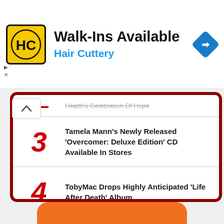[Figure (logo): Hair Cuttery advertisement banner with HC logo, text 'Walk-Ins Available' and 'Hair Cuttery', and a navigation/map icon]
Health's Celebration Of Hope (partially visible, item 2)
3 — Tamela Mann's Newly Released 'Overcomer: Deluxe Edition' CD Available In Stores
4 — TobyMac Drops Highly Anticipated 'Life After Death' Album
5 — Tommee Profitt Announces 'The Birth Of A King' Live Recording